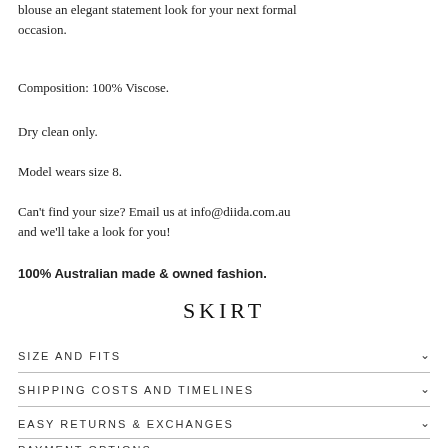blouse an elegant statement look for your next formal occasion.
Composition: 100% Viscose.
Dry clean only.
Model wears size 8.
Can't find your size? Email us at info@diida.com.au and we'll take a look for you!
100% Australian made & owned fashion.
SKIRT
SIZE AND FITS
SHIPPING COSTS AND TIMELINES
EASY RETURNS & EXCHANGES
PAYMENT OPTIONS